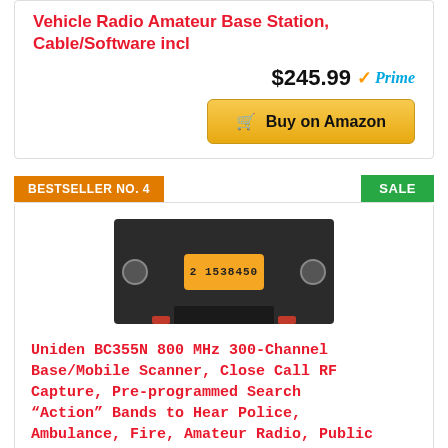Vehicle Radio Amateur Base Station, Cable/Software incl
$245.99 Prime
Buy on Amazon
BESTSELLER NO. 4
SALE
[Figure (photo): Uniden BC355N 800 MHz 300-Channel Base/Mobile Scanner radio device on a mounting bracket with red feet]
Uniden BC355N 800 MHz 300-Channel Base/Mobile Scanner, Close Call RF Capture, Pre-programmed Search “Action” Bands to Hear Police, Ambulance, Fire, Amateur Radio, Public Utilities, Weather and More, Black